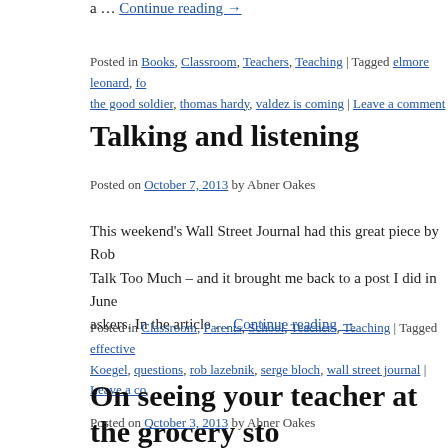a … Continue reading →
Posted in Books, Classroom, Teachers, Teaching | Tagged elmore leonard, fo the good soldier, thomas hardy, valdez is coming | Leave a comment
Talking and listening
Posted on October 7, 2013 by Abner Oakes
This weekend's Wall Street Journal had this great piece by Rob Talk Too Much – and it brought me back to a post I did in June askers. In the article … Continue reading →
Posted in Classroom, Parents, School, Teachers, Teaching | Tagged effective Koegel, questions, rob lazebnik, serge bloch, wall street journal | Leave a co
On seeing your teacher at the grocery sto
Posted on October 3, 2013 by Abner Oakes
There is that story that teachers tell about seeing a student outsic